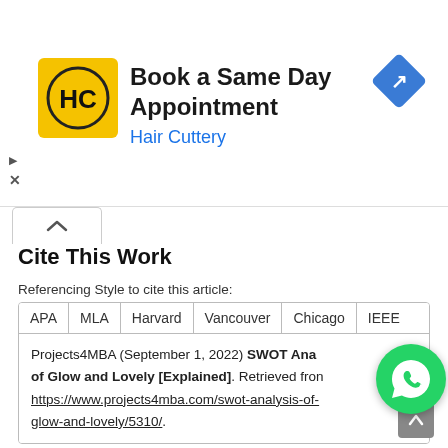[Figure (illustration): Hair Cuttery advertisement banner: logo with HC letters on yellow background, text 'Book a Same Day Appointment' and 'Hair Cuttery', blue arrow navigation icon on right, play and close controls on left]
Cite This Work
Referencing Style to cite this article:
| APA | MLA | Harvard | Vancouver | Chicago | IEEE |
| --- | --- | --- | --- | --- | --- |
| Projects4MBA (September 1, 2022) SWOT Analysis of Glow and Lovely [Explained]. Retrieved from https://www.projects4mba.com/swot-analysis-of-glow-and-lovely/5310/. |
[Figure (logo): WhatsApp green circle icon with phone handset logo]
[Figure (other): Scroll to top arrow button, grey square]